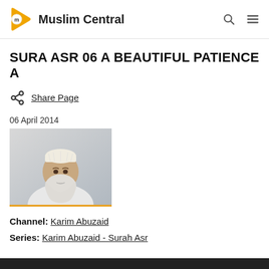Muslim Central
SURA ASR 06 A BEAUTIFUL PATIENCE A
Share Page
06 April 2014
[Figure (photo): Portrait photo of a bearded man wearing a white kufi cap and white garment, against a light grey background.]
Channel: Karim Abuzaid
Series: Karim Abuzaid - Surah Asr